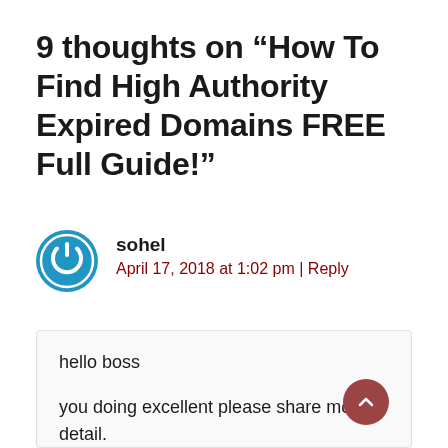9 thoughts on “How To Find High Authority Expired Domains FREE Full Guide!”
sohel
April 17, 2018 at 1:02 pm | Reply
hello boss

you doing excellent please share more detail.